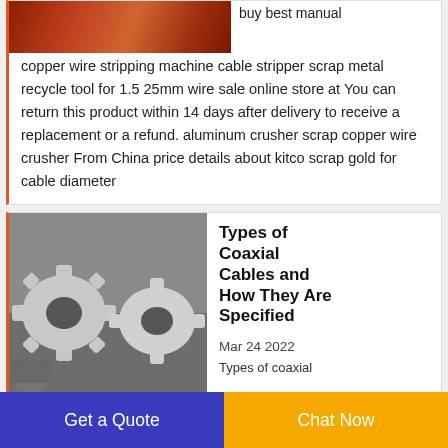[Figure (photo): Top partial image of a copper wire stripping machine, cropped at top]
buy best manual copper wire stripping machine cable stripper scrap metal recycle tool for 1.5 25mm wire sale online store at You can return this product within 14 days after delivery to receive a replacement or a refund. aluminum crusher scrap copper wire crusher From China price details about kitco scrap gold for cable diameter
[Figure (photo): Photo of metallic gear/sprocket-like industrial parts stacked on a surface]
Types of Coaxial Cables and How They Are Specified
Mar 24 2022
Types of coaxial
Get a Quote
Chat Now